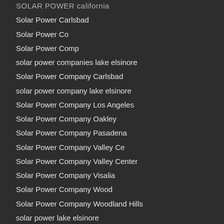SOLAR POWER california
Solar Power Carlsbad
Solar Power Co
Solar Power Comp
solar power companies lake elsinore
Solar Power Company Carlsbad
solar power company lake elsinore
Solar Power Company Los Angeles
Solar Power Company Oakley
Solar Power Company Pasadena
Solar Power Company Valley Ce
Solar Power Company Valley Center
Solar Power Company Visalia
Solar Power Company Wood
Solar Power Company Woodland Hills
solar power lake elsinore
Solar Power Lemon Grove